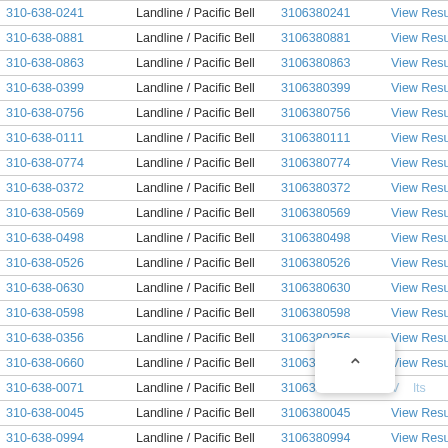| Phone | Type | Number | Action |
| --- | --- | --- | --- |
| 310-638-0241 | Landline / Pacific Bell | 3106380241 | View Results |
| 310-638-0881 | Landline / Pacific Bell | 3106380881 | View Results |
| 310-638-0863 | Landline / Pacific Bell | 3106380863 | View Results |
| 310-638-0399 | Landline / Pacific Bell | 3106380399 | View Results |
| 310-638-0756 | Landline / Pacific Bell | 3106380756 | View Results |
| 310-638-0111 | Landline / Pacific Bell | 3106380111 | View Results |
| 310-638-0774 | Landline / Pacific Bell | 3106380774 | View Results |
| 310-638-0372 | Landline / Pacific Bell | 3106380372 | View Results |
| 310-638-0569 | Landline / Pacific Bell | 3106380569 | View Results |
| 310-638-0498 | Landline / Pacific Bell | 3106380498 | View Results |
| 310-638-0526 | Landline / Pacific Bell | 3106380526 | View Results |
| 310-638-0630 | Landline / Pacific Bell | 3106380630 | View Results |
| 310-638-0598 | Landline / Pacific Bell | 3106380598 | View Results |
| 310-638-0356 | Landline / Pacific Bell | 3106380356 | View Results |
| 310-638-0660 | Landline / Pacific Bell | 3106380660 | View Results |
| 310-638-0071 | Landline / Pacific Bell | 3106380071 | View Results |
| 310-638-0045 | Landline / Pacific Bell | 3106380045 | View Results |
| 310-638-0994 | Landline / Pacific Bell | 3106380994 | View Results |
| 310-638-0759 | Landline / Pacific Bell | 3106380759 | View Results |